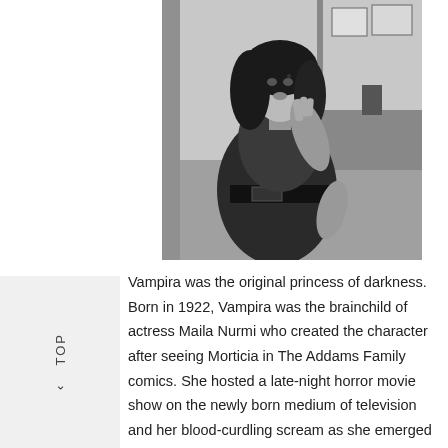[Figure (photo): Black and white photograph of Vampira (Maila Nurmi), a woman in a dark dress with a wide belt, posed dramatically with her hand raised near her face, indoors.]
Vampira was the original princess of darkness. Born in 1922, Vampira was the brainchild of actress Maila Nurmi who created the character after seeing Morticia in The Addams Family comics. She hosted a late-night horror movie show on the newly born medium of television and her blood-curdling scream as she emerged from her coffin bed was beamed into the living rooms of